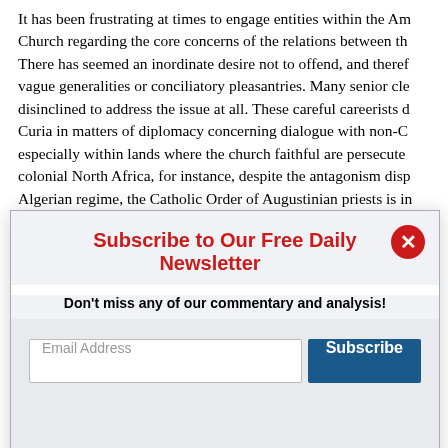It has been frustrating at times to engage entities within the Am Church regarding the core concerns of the relations between th There has seemed an inordinate desire not to offend, and theref vague generalities or conciliatory pleasantries. Many senior cle disinclined to address the issue at all. These careful careerists d Curia in matters of diplomacy concerning dialogue with non-C especially within lands where the church faithful are persecute colonial North Africa, for instance, despite the antagonism disp Algerian regime, the Catholic Order of Augustinian priests is i accommodating to Algiers. The conservative, thuggish military
[Figure (screenshot): Newsletter subscription modal with red title 'Subscribe to Our Free Daily Newsletter', subtitle 'Don't miss any of our commentary and analysis!', email input field and blue Subscribe button, and red italic 'Not interested' link at bottom.]